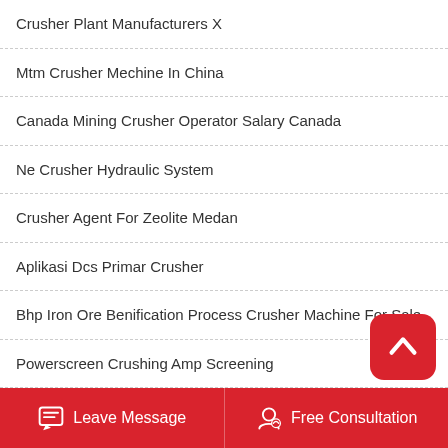Crusher Plant Manufacturers X
Mtm Crusher Mechine In China
Canada Mining Crusher Operator Salary Canada
Ne Crusher Hydraulic System
Crusher Agent For Zeolite Medan
Aplikasi Dcs Primar Crusher
Bhp Iron Ore Benification Process Crusher Machine For Sale
Powerscreen Crushing Amp Screening
900 Tonne Per Hour Crusher
Crushing Capacity Of Bentonite Mill For Hour